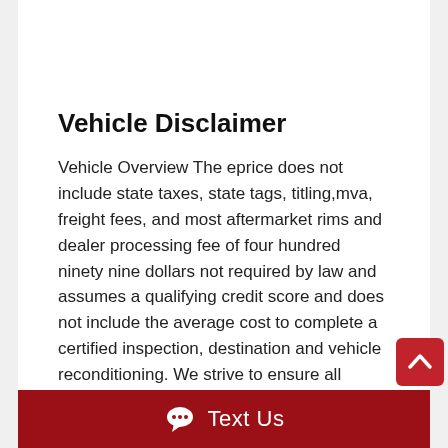[Figure (illustration): Three social media icons in circles: Facebook (blue), Twitter (light blue), Pinterest (red)]
Vehicle Disclaimer
Vehicle Overview The eprice does not include state taxes, state tags, titling,mva, freight fees, and most aftermarket rims and dealer processing fee of four hundred ninety nine dollars not required by law and assumes a qualifying credit score and does not include the average cost to complete a certified inspection, destination and vehicle reconditioning. We strive to ensure all pricing and information contained in this website is accurate. Dealer reserves the right to refuse any sale due to pricing errors and will not be held responsible for any errors resulting from typos,
Text Us